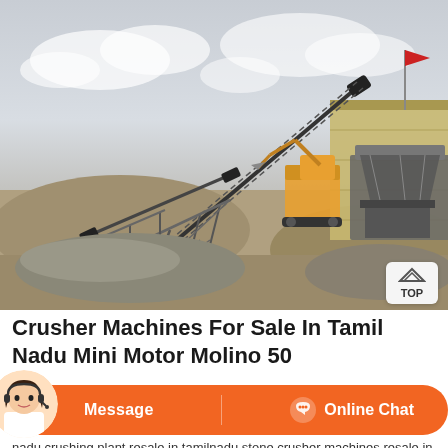[Figure (photo): Outdoor stone crushing plant with conveyor belts, heavy machinery, excavator, and piles of crushed stone/gravel under a cloudy sky. A red flag is visible in the upper right corner.]
Crusher Machines For Sale In Tamil Nadu Mini Motor Molino 50
[Figure (infographic): Orange chat bar with a female customer service avatar on the left, a 'Message' button in the center-left, a divider, and an 'Online Chat' button with headset icon on the right.]
nadu crushing plant resale in tamilnadu stone crusher machines resale in